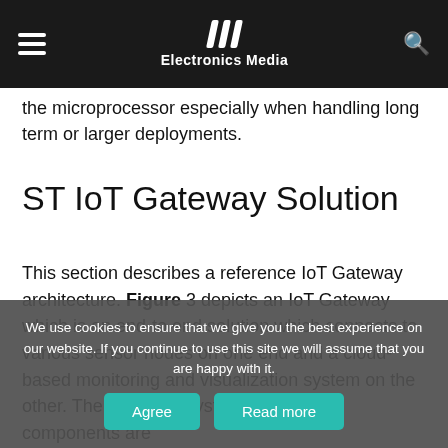Electronics Media
the microprocessor especially when handling long term or larger deployments.
ST IoT Gateway Solution
This section describes a reference IoT Gateway architecture. Figure 3 depicts an IoT Gateway which is an end-to end solution which connects to various sensor nodes on one end and a cloud-based monitoring and visualization system on the other. The complete system's significant components are
We use cookies to ensure that we give you the best experience on our website. If you continue to use this site we will assume that you are happy with it.